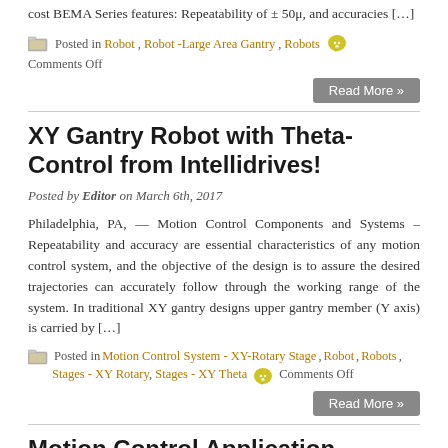cost BEMA Series features: Repeatability of ± 50μ, and accuracies […]
Posted in Robot, Robot -Large Area Gantry, Robots  Comments Off
Read More »
XY Gantry Robot with Theta-Control from Intellidrives!
Posted by Editor on March 6th, 2017
Philadelphia, PA, — Motion Control Components and Systems – Repeatability and accuracy are essential characteristics of any motion control system, and the objective of the design is to assure the desired trajectories can accurately follow through the working range of the system. In traditional XY gantry designs upper gantry member (Y axis) is carried by […]
Posted in Motion Control System - XY-Rotary Stage, Robot, Robots, Stages - XY Rotary, Stages - XY Theta  Comments Off
Read More »
Motion Control Application- Maxon Robot- High Force & Well Actuat…